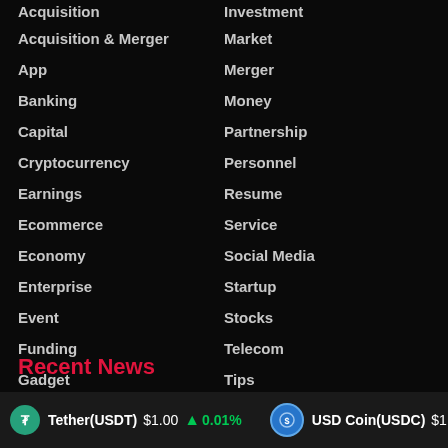Acquisition
Investment
Acquisition & Merger
Market
App
Merger
Banking
Money
Capital
Partnership
Cryptocurrency
Personnel
Earnings
Resume
Ecommerce
Service
Economy
Social Media
Enterprise
Startup
Event
Stocks
Funding
Telecom
Gadget
Tips
Government
Venture Capital
Internet
Recent News
Tether(USDT) $1.00 ↑ 0.01%   USD Coin(USDC) $1.00 ↑ 0.